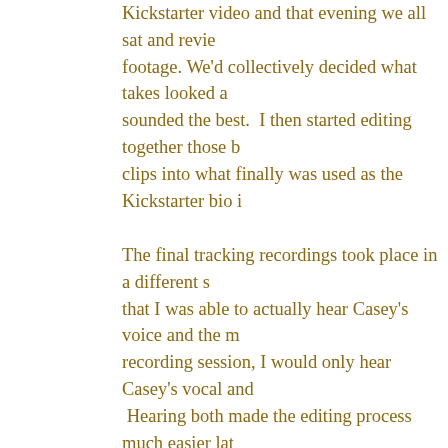Kickstarter video and that evening we all sat and reviewed the footage. We'd collectively decided what takes looked and sounded the best.  I then started editing together those best clips into what finally was used as the Kickstarter bio i
The final tracking recordings took place in a different s that I was able to actually hear Casey's voice and the m recording session, I would only hear Casey's vocal and  Hearing both made the editing process much easier lat post production.  I used dual cameras for capturing the  While one camera was recording stationary on a tripod would simultaneously record using a hand held camera two takes could then be synched together and faded in to give two different perspectives.  In the weeks and m following the trip I would release various videos we sh